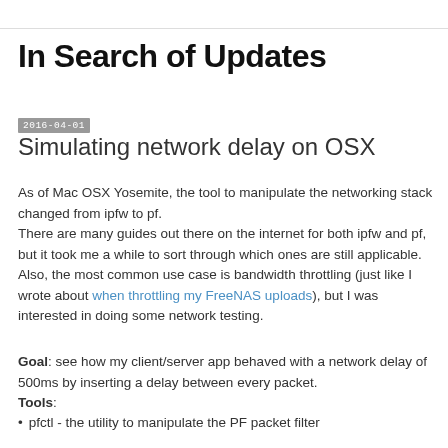In Search of Updates
2016-04-01
Simulating network delay on OSX
As of Mac OSX Yosemite, the tool to manipulate the networking stack changed from ipfw to pf.
There are many guides out there on the internet for both ipfw and pf, but it took me a while to sort through which ones are still applicable. Also, the most common use case is bandwidth throttling (just like I wrote about when throttling my FreeNAS uploads), but I was interested in doing some network testing.
Goal: see how my client/server app behaved with a network delay of 500ms by inserting a delay between every packet.
Tools:
pfctl - the utility to manipulate the PF packet filter